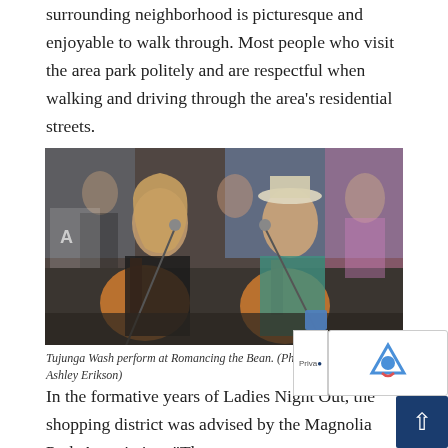surrounding neighborhood is picturesque and enjoyable to walk through. Most people who visit the area park politely and are respectful when walking and driving through the area's residential streets.
[Figure (photo): Two musicians performing at Romancing the Bean coffee shop. A woman with long blonde hair plays acoustic guitar on the left, and a man wearing a white fedora hat plays acoustic guitar on the right. The venue appears busy with patrons in the background.]
Tujunga Wash perform at Romancing the Bean. (Photo Courtesy of Ashley Erikson)
In the formative years of Ladies Night Out, the shopping district was advised by the Magnolia Park Association. "Th...